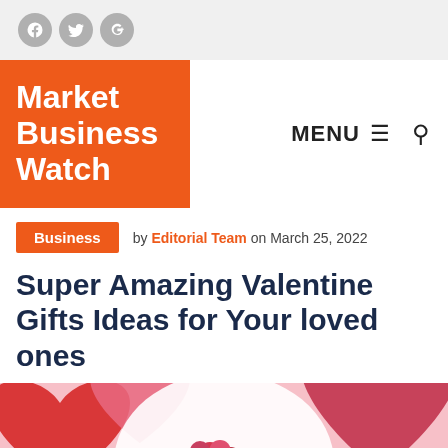Social icons: Facebook, Twitter, Google+
Market Business Watch
MENU
Business  by Editorial Team on March 25, 2022
Super Amazing Valentine Gifts Ideas for Your loved ones
[Figure (photo): Valentine's Day themed image with red and pink hearts, red roses, and a rose gold ring bracelet on a white/pink background]